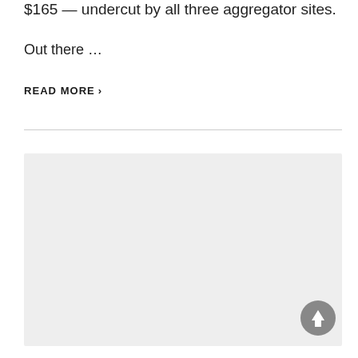$165 — undercut by all three aggregator sites.
Out there …
READ MORE ›
[Figure (other): Large light gray placeholder rectangle, likely an image or advertisement area]
[Figure (other): Circular gray scroll-to-top button with upward arrow icon, positioned at bottom right]